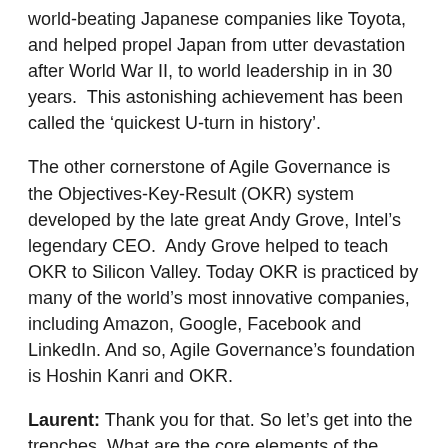world-beating Japanese companies like Toyota, and helped propel Japan from utter devastation after World War II, to world leadership in in 30 years. This astonishing achievement has been called the ‘quickest U-turn in history’.
The other cornerstone of Agile Governance is the Objectives-Key-Result (OKR) system developed by the late great Andy Grove, Intel’s legendary CEO. Andy Grove helped to teach OKR to Silicon Valley. Today OKR is practiced by many of the world’s most innovative companies, including Amazon, Google, Facebook and LinkedIn. And so, Agile Governance’s foundation is Hoshin Kanri and OKR.
Laurent: Thank you for that. So let’s get into the trenches. What are the core elements of the Agile Governance?
Pascal: We’ll talk about the core elements of Agile Governments in an upcoming series of blogs. Here are